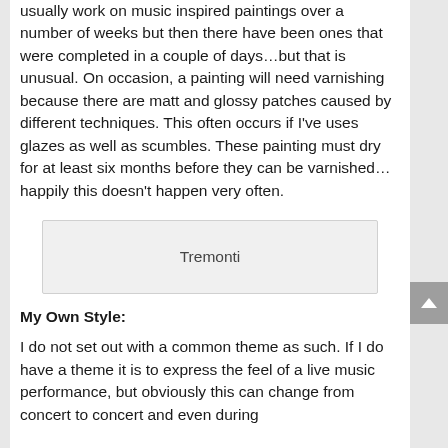usually work on music inspired paintings over a number of weeks but then there have been ones that were completed in a couple of days…but that is unusual. On occasion, a painting will need varnishing because there are matt and glossy patches caused by different techniques. This often occurs if I've uses glazes as well as scumbles. These painting must dry for at least six months before they can be varnished… happily this doesn't happen very often.
[Figure (other): A placeholder image box labeled 'Tremonti']
My Own Style:
I do not set out with a common theme as such. If I do have a theme it is to express the feel of a live music performance, but obviously this can change from concert to concert and even during